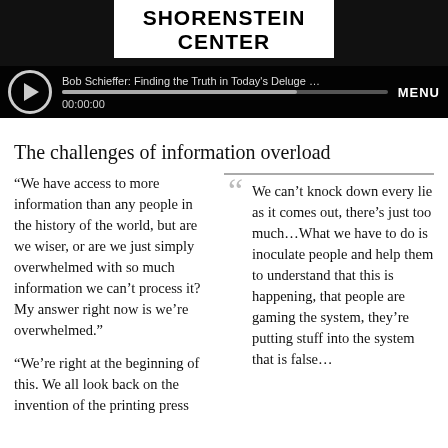[Figure (screenshot): Shorenstein Center logo and audio player bar with title 'Bob Schieffer: Finding the Truth in Today's Deluge of News: ...' at 00:00:00 with progress bar and MENU label]
The challenges of information overload
“We have access to more information than any people in the history of the world, but are we wiser, or are we just simply overwhelmed with so much information we can’t process it? My answer right now is we’re overwhelmed.”
“We’re right at the beginning of this. We all look back on the invention of the printing press
We can’t knock down every lie as it comes out, there’s just too much…What we have to do is inoculate people and help them to understand that this is happening, that people are gaming the system, they’re putting stuff into the system that is false…